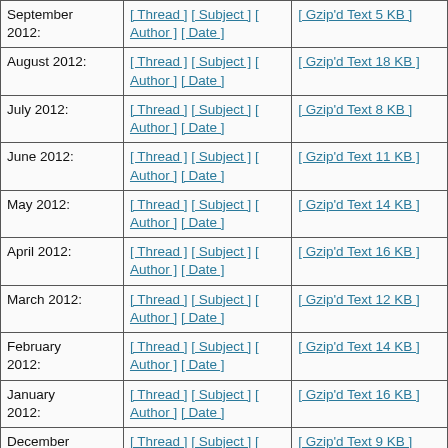| Month | Sort options | Archive |
| --- | --- | --- |
| September 2012: | [ Thread ] [ Subject ] [ Author ] [ Date ] | [ Gzip'd Text 5 KB ] |
| August 2012: | [ Thread ] [ Subject ] [ Author ] [ Date ] | [ Gzip'd Text 18 KB ] |
| July 2012: | [ Thread ] [ Subject ] [ Author ] [ Date ] | [ Gzip'd Text 8 KB ] |
| June 2012: | [ Thread ] [ Subject ] [ Author ] [ Date ] | [ Gzip'd Text 11 KB ] |
| May 2012: | [ Thread ] [ Subject ] [ Author ] [ Date ] | [ Gzip'd Text 14 KB ] |
| April 2012: | [ Thread ] [ Subject ] [ Author ] [ Date ] | [ Gzip'd Text 16 KB ] |
| March 2012: | [ Thread ] [ Subject ] [ Author ] [ Date ] | [ Gzip'd Text 12 KB ] |
| February 2012: | [ Thread ] [ Subject ] [ Author ] [ Date ] | [ Gzip'd Text 14 KB ] |
| January 2012: | [ Thread ] [ Subject ] [ Author ] [ Date ] | [ Gzip'd Text 16 KB ] |
| December 2011: | [ Thread ] [ Subject ] [ Author ] [ Date ] | [ Gzip'd Text 9 KB ] |
| November 2011: | [ Thread ] [ Subject ] [ Author ] [ Date ] | [ Gzip'd Text 13 KB ] |
| October | [ Thread ] [ Subject ] [ | [ Gzip'd Text 13 KB |